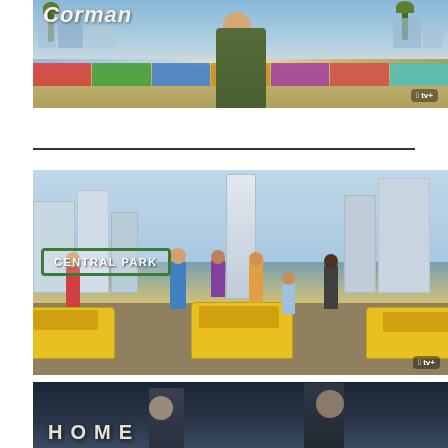[Figure (photo): Promotional image for 'Corman' on Apple TV+. Shows a man in a green shirt standing in front of a colorful Los Angeles street scene with palm trees and buildings. The word 'Corman' appears in large italic text at the top. Apple TV+ logo visible in the bottom right corner.]
[Figure (photo): Promotional image for 'Central Park' animated series on Apple TV+. Shows cartoon characters standing among yellow taxis on a city street with skyscrapers in the background. The show title 'CENTRAL PARK' appears in a green-bordered box. Apple TV+ logo in the bottom right corner.]
[Figure (photo): Partial promotional image for 'HOME' on Apple TV+. Shows two people in a dark, moody setting. The word 'HOME' (partially visible) appears at the bottom. Only the top portion of the image is visible.]